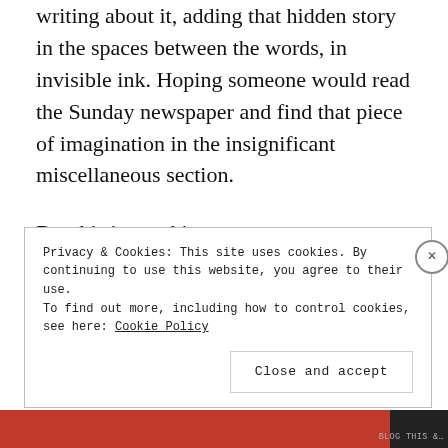writing about it, adding that hidden story in the spaces between the words, in invisible ink. Hoping someone would read the Sunday newspaper and find that piece of imagination in the insignificant miscellaneous section.
But this internship.
One does really understand why it's a paid internship.
Privacy & Cookies: This site uses cookies. By continuing to use this website, you agree to their use.
To find out more, including how to control cookies, see here: Cookie Policy